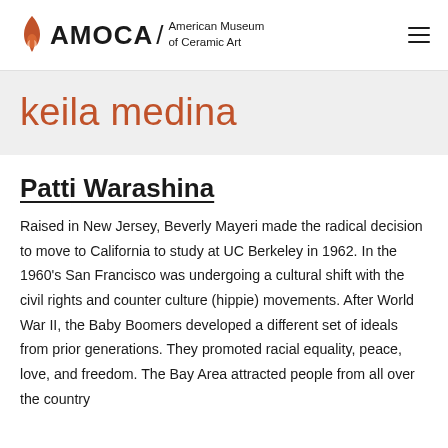AMOCA / American Museum of Ceramic Art
keila medina
Patti Warashina
Raised in New Jersey, Beverly Mayeri made the radical decision to move to California to study at UC Berkeley in 1962. In the 1960's San Francisco was undergoing a cultural shift with the civil rights and counter culture (hippie) movements. After World War II, the Baby Boomers developed a different set of ideals from prior generations. They promoted racial equality, peace, love, and freedom. The Bay Area attracted people from all over the country